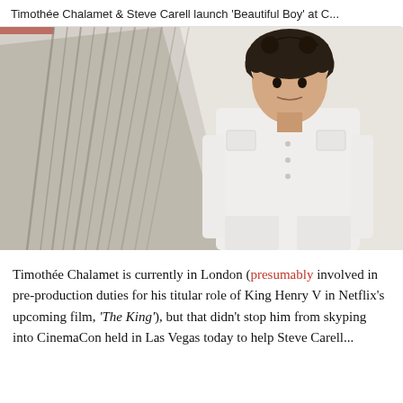Timothée Chalamet & Steve Carell launch 'Beautiful Boy' at C...
[Figure (photo): Young man with curly dark hair wearing an all-white denim jacket and trousers, standing against a light grey wall with large abstract painted drip marks in grey/taupe tones on the left side.]
Timothée Chalamet is currently in London (presumably involved in pre-production duties for his titular role of King Henry V in Netflix's upcoming film, 'The King'), but that didn't stop him from skyping into CinemaCon held in Las Vegas today to help Steve Carell...